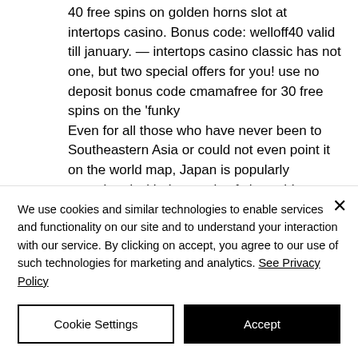40 free spins on golden horns slot at intertops casino. Bonus code: welloff40 valid till january. — intertops casino classic has not one, but two special offers for you! use no deposit bonus code cmamafree for 30 free spins on the 'funky
Even for all those who have never been to Southeastern Asia or could not even point it on the world map, Japan is popularly associated with the magic of cherry blossoms and distinctive music, captivating anime, traditional tea ceremonies, and tasty sushi. free igt casino slot games. At the
We use cookies and similar technologies to enable services and functionality on our site and to understand your interaction with our service. By clicking on accept, you agree to our use of such technologies for marketing and analytics. See Privacy Policy